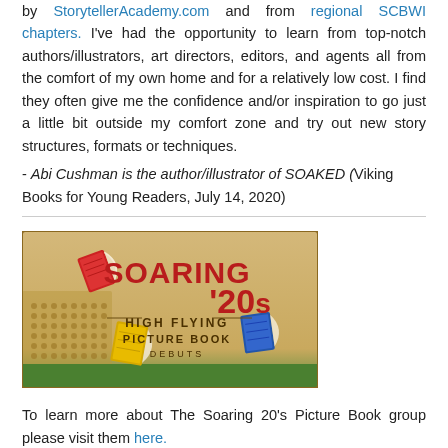by StorytellerAcademy.com and from regional SCBWI chapters. I've had the opportunity to learn from top-notch authors/illustrators, art directors, editors, and agents all from the comfort of my own home and for a relatively low cost. I find they often give me the confidence and/or inspiration to go just a little bit outside my comfort zone and try out new story structures, formats or techniques.
- Abi Cushman is the author/illustrator of SOAKED (Viking Books for Young Readers, July 14, 2020)
[Figure (illustration): Banner image for 'Soaring 20s High Flying Picture Book Debuts' featuring illustrated flying books in red, yellow, and blue on a warm golden background with green at the bottom.]
To learn more about The Soaring 20's Picture Book group please visit them here.